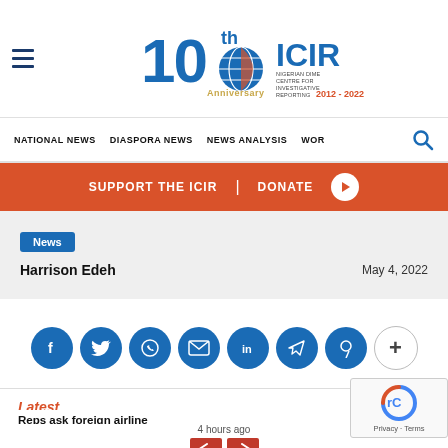ICIR 10th Anniversary 2012-2022
NATIONAL NEWS | DIASPORA NEWS | NEWS ANALYSIS | WOR
SUPPORT THE ICIR | DONATE
News
Harrison Edeh   May 4, 2022
[Figure (infographic): Social sharing icons: Facebook, Twitter, WhatsApp, Email, LinkedIn, Telegram, Pinterest, More (+)]
Latest
Reps ask foreign airlines to shelve sale of tickets in d…
4 hours ago